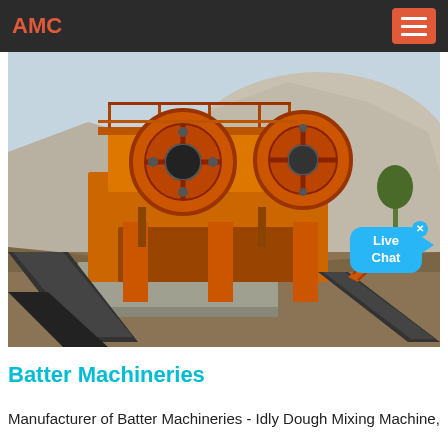AMC
[Figure (photo): Large orange industrial jaw crusher / stone crushing machine on a construction/quarry site with a worker on stairs and rocky hill in background. Blue sky visible.]
Batter Machineries
Manufacturer of Batter Machineries - Idly Dough Mixing Machine,